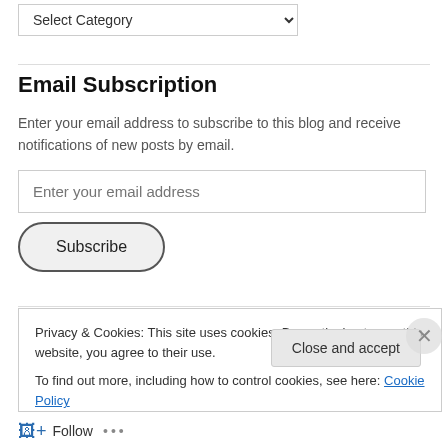Select Category
Email Subscription
Enter your email address to subscribe to this blog and receive notifications of new posts by email.
Enter your email address
Subscribe
Privacy & Cookies: This site uses cookies. By continuing to use this website, you agree to their use.
To find out more, including how to control cookies, see here: Cookie Policy
Close and accept
Follow